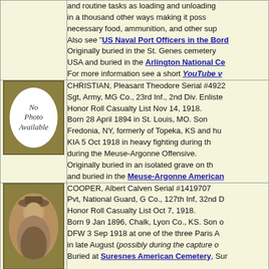and routine tasks as loading and unloading in a thousand other ways making it possible to have the necessary food, ammunition, and other supplies. Also see "US Naval Port Officers in the Bordeaux" Originally buried in the St. Genes cemetery, USA and buried in the Arlington National Cemetery. For more information see a short YouTube video
[Figure (photo): No Photo Available placeholder - oval on gold background]
CHRISTIAN, Pleasant Theodore Serial #4922 Sgt, Army, MG Co., 23rd Inf., 2nd Div. Enlisted Honor Roll Casualty List Nov 14, 1918. Born 28 April 1894 in St. Louis, MO. Son of Fredonia, NY, formerly of Topeka, KS and his wife. KIA 5 Oct 1918 in heavy fighting during the Meuse-Argonne Offensive. Originally buried in an isolated grave on the battlefield and buried in the Meuse-Argonne American Cemetery
[Figure (photo): Sepia oval portrait photo of soldier wearing wide-brimmed hat, on gold background]
COOPER, Albert Calven Serial #1419707 Pvt, National Guard, G Co., 127th Inf, 32nd Division. Honor Roll Casualty List Oct 7, 1918. Born 9 Jan 1896, Chalk, Lyon Co., KS. Son of DFW 3 Sep 1918 at one of the three Paris Armies in late August (possibly during the capture of) Buried at Suresnes American Cemetery, Suresnes
[Figure (photo): Partial sepia oval portrait photo of soldier on gold background, cut off at bottom]
CUMMICKEL, William Henry Serial #491011 Pvt, F Co., 7th Ammunition Train, 7th Div. Enlisted Honor Roll Casualty List Nov 24, 1918. Born 14 May 1896, Le Mars, Plymouth